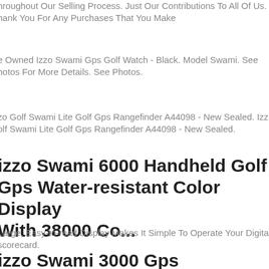hroughout Our Selling Process. Just Our Contributions To All Of Us. hank You For Any Purchases That You Make
e Owned Izzo Swami Gps Golf Watch - Black. Model Swami. See hotos For More Details. See Photos.
zo Golf Swami Lite Golf Gps Rangefinder A44098 - New Sealed. Izzo Golf Swami Lite Golf Gps Rangefinder A44098 - New Sealed.
izzo Swami 6000 Handheld Golf Gps Water-resistant Color Display With 38000 Co...
Large, Easy-to-read Display Makes It Simple To Operate Your Digital scorecard.
izzo Swami 3000 Gps Rangefinder